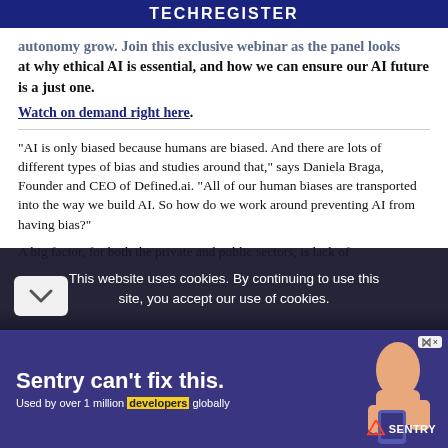TECHREGISTER
autonomy grow. Join this exclusive webinar as the panel looks at why ethical AI is essential, and how we can ensure our AI future is a just one.
Watch on demand right here.
“AI is only biased because humans are biased. And there are lots of different types of bias and studies around that,” says Daniela Braga, Founder and CEO of Defined.ai. “All of our human biases are transported into the way we build AI. So how do we work around preventing AI from having bias?”
A big factor, for both the private and public sectors, is lack of
This website uses cookies. By continuing to use this site, you accept our use of cookies.
[Figure (screenshot): Sentry advertisement banner: 'Sentry can’t fix this. Used by over 1 million developers globally']